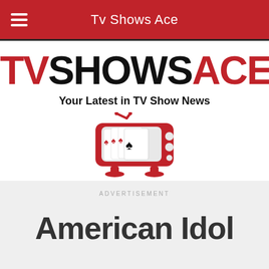Tv Shows Ace
TVSHOWSACE
Your Latest in TV Show News
[Figure (logo): Red retro TV set with playing cards (four aces / spades) visible on screen, with two antennae on top]
ADVERTISEMENT
American Idol